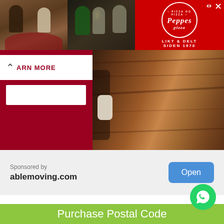[Figure (photo): Advertisement banner showing Peppes Pizza. Left portion shows two photos of people dining in a restaurant. Right portion is a red Peppes Pizza logo banner with text 'LIKT & DELT SIDEN 1970'. Small triangular play icon and X close icon in top right corner.]
[Figure (photo): Middle section with dark red/maroon background on left showing a white chevron up arrow and a white Learn More button area. Right side shows a close-up brown wood/leather textured image with a partial figure of a person.]
Sponsored by
ablemoving.com
Open
[Figure (photo): WhatsApp floating action button (green circle with phone icon)]
Purchase Postal Code Database